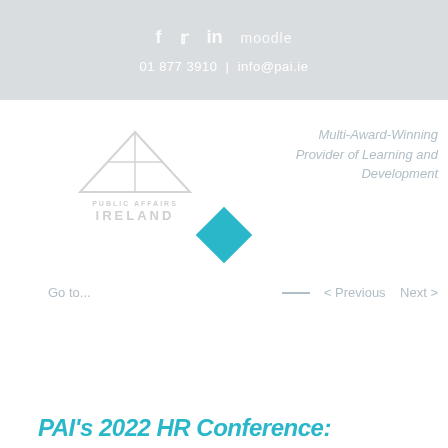f   Twitter   in   moodle
01 877 3910 | info@pai.ie
[Figure (logo): Public Affairs Ireland logo — pyramid graphic above text 'PUBLIC AFFAIRS IRELAND']
Multi-Award-Winning Provider of Learning and Development
[Figure (illustration): Teal/cyan diamond/rotated square decorative element]
Go to...
< Previous   Next >
PAI's 2022 HR Conference: